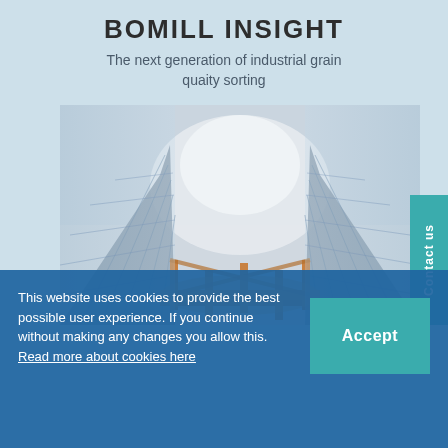BOMILL INSIGHT
The next generation of industrial grain quaity sorting
[Figure (photo): Low-angle view of a modern glass and steel building with orange structural framework against a light sky]
Contact us
This website uses cookies to provide the best possible user experience. If you continue without making any changes you allow this. Read more about cookies here
Accept